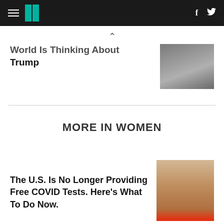HuffPost navigation with hamburger menu, logo, facebook and twitter icons
World Is Thinking About Trump
MORE IN WOMEN
The U.S. Is No Longer Providing Free COVID Tests. Here's What To Do Now.